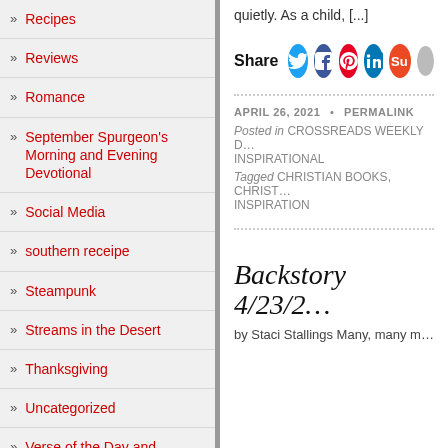» Recipes
» Reviews
» Romance
» September Spurgeon's Morning and Evening Devotional
» Social Media
» southern receipe
» Steampunk
» Streams in the Desert
» Thanksgiving
» Uncategorized
» Verse of the Day and Devotion
quietly. As a child, [...]
Share
APRIL 26, 2021 • PERMALINK
Posted in CROSSREADS WEEKLY D... INSPIRATIONAL
Tagged CHRISTIAN BOOKS, CHRIST... INSPIRATION
Backstory 4/23/2...
by Staci Stallings Many, many m...